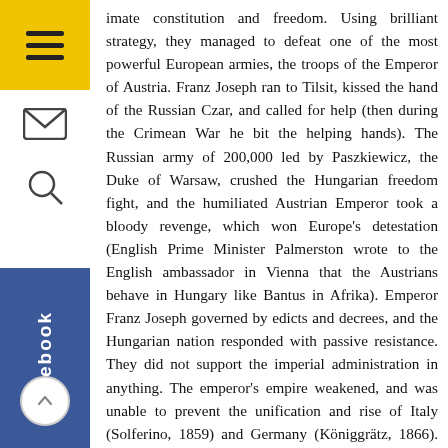imate constitution and freedom. Using brilliant strategy, they managed to defeat one of the most powerful European armies, the troops of the Emperor of Austria. Franz Joseph ran to Tilsit, kissed the hand of the Russian Czar, and called for help (then during the Crimean War he bit the helping hands). The Russian army of 200,000 led by Paszkiewicz, the Duke of Warsaw, crushed the Hungarian freedom fight, and the humiliated Austrian Emperor took a bloody revenge, which won Europe's detestation (English Prime Minister Palmerston wrote to the English ambassador in Vienna that the Austrians behave in Hungary like Bantus in Afrika). Emperor Franz Joseph governed by edicts and decrees, and the Hungarian nation responded with passive resistance. They did not support the imperial administration in anything. The emperor's empire weakened, and was unable to prevent the unification and rise of Italy (Solferino, 1859) and Germany (Königgrätz, 1866). Franz Joseph was forced to abandon absolutism. The most prominent politician and lawyer of the time, Ferenc Deák, elaborated a framework for a Great Power of the Danube, and formulated the "balancing" of conditions. On the basis of Hungary's thousand years old constitution, Franz Joseph could become King of Hungary and secure the royal succession order under the Pragmatica Sanctio only after